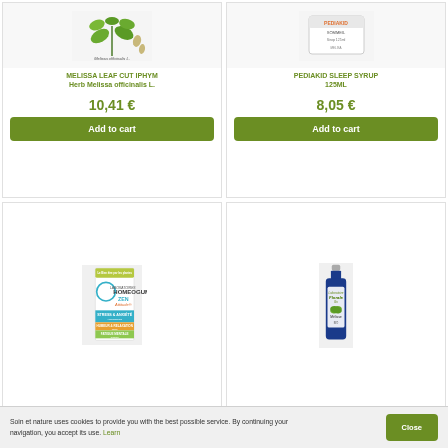[Figure (photo): Melissa officinalis L. botanical illustration with plant and seeds]
MELISSA LEAF CUT IPHYM Herb Melissa officinalis L.
10,41 €
Add to cart
[Figure (photo): Pediakid Sleep Syrup 125ml product box]
PEDIAKID SLEEP SYRUP 125ML
8,05 €
Add to cart
[Figure (photo): Homeogum ZEN Attitude box for stress, anxiety, humeur & relaxation, fatigue mentale]
[Figure (photo): Florale Bio Mélisse blue bottle]
Soin et nature uses cookies to provide you with the best possible service. By continuing your navigation, you accept its use. Learn
Close